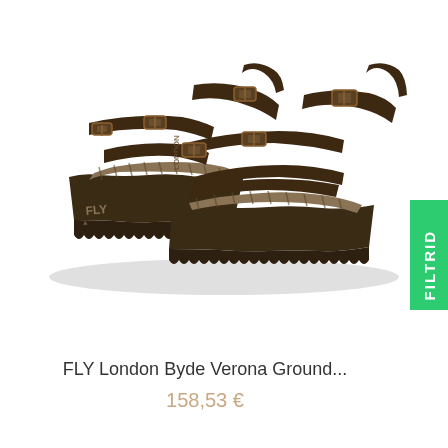[Figure (photo): Product photo of FLY London Byde Verona Ground sandals — dark brown leather wedge sandals with buckle straps and serrated rubber soles, shown as a pair on white background. A green 'FILTRID' badge is visible on the right side.]
FLY London Byde Verona Ground...
158,53 €